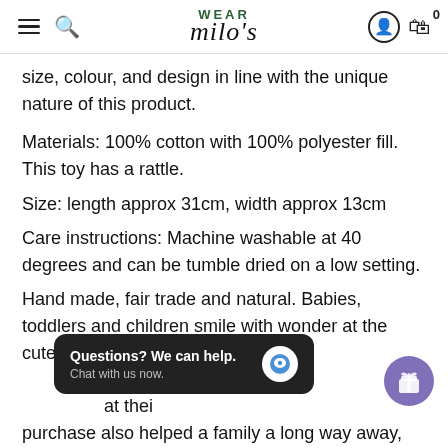WEAR Milo's — navigation header with hamburger menu, search, logo, account, and cart (0 items)
size, colour, and design in line with the unique nature of this product.
Materials: 100% cotton with 100% polyester fill. This toy has a rattle.
Size: length approx 31cm, width approx 13cm
Care instructions: Machine washable at 40 degrees and can be tumble dried on a low setting.
Hand made, fair trade and natural. Babies, toddlers and children smile with wonder at the cute designs and quirky expressions, and parents will feel the joy of watching their little ones light up, and know that their purchase also helped a family a long way away, and the